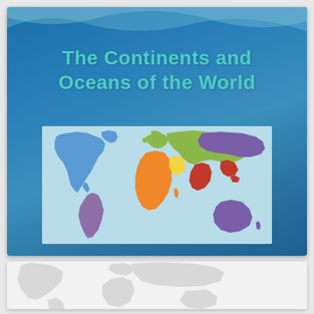[Figure (illustration): Presentation slide with dark blue gradient background, teal wave decoration at top, title text 'The Continents and Oceans of the World' in teal/cyan color, and a colorful world map showing continents in different colors (North America blue, South America purple, Europe green, Africa orange, Asia pink/red and purple, Australia purple) on a light blue background.]
[Figure (map): Partial view of a second slide showing a light gray world map silhouette on a white/light gray background, partially visible at the bottom of the page.]